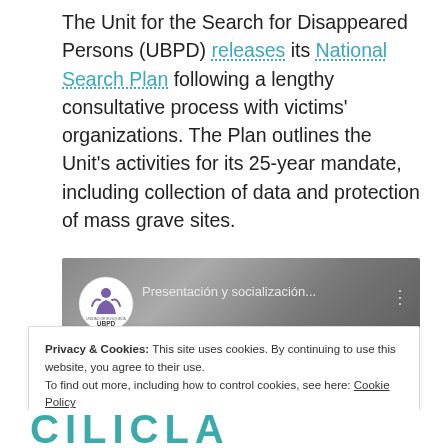The Unit for the Search for Disappeared Persons (UBPD) releases its National Search Plan following a lengthy consultative process with victims' organizations. The Plan outlines the Unit's activities for its 25-year mandate, including collection of data and protection of mass grave sites.
[Figure (screenshot): Video thumbnail showing UBPD logo and text 'Presentación y socialización...' with 'CIALIZACIÓN DI' banner at bottom on dark grey gradient background]
Privacy & Cookies: This site uses cookies. By continuing to use this website, you agree to their use.
To find out more, including how to control cookies, see here: Cookie Policy
Close and accept